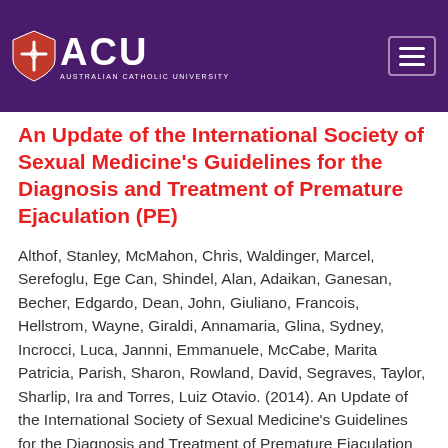[Figure (logo): ACU Australian Catholic University logo and navigation bar on purple background]
An Update of the International Society of Sexual Medicine's Guidelines for the Diagnosis and Treatment of Premature Ejaculation (PE)
Althof, Stanley, McMahon, Chris, Waldinger, Marcel, Serefoglu, Ege Can, Shindel, Alan, Adaikan, Ganesan, Becher, Edgardo, Dean, John, Giuliano, Francois, Hellstrom, Wayne, Giraldi, Annamaria, Glina, Sydney, Incrocci, Luca, Jannni, Emmanuele, McCabe, Marita Patricia, Parish, Sharon, Rowland, David, Segraves, Taylor, Sharlip, Ira and Torres, Luiz Otavio. (2014). An Update of the International Society of Sexual Medicine's Guidelines for the Diagnosis and Treatment of Premature Ejaculation